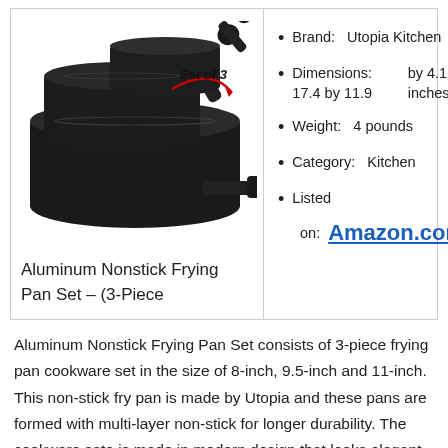[Figure (photo): Three black nonstick frying pans stacked together with black handles, labeled 'Set of 3' with a red arc]
Aluminum Nonstick Frying Pan Set – (3-Piece
Brand:   Utopia Kitchen
Dimensions:   17.4 by 11.9 by 4.1 inches
Weight:   4 pounds
Category:   Kitchen
Listed
on:   Amazon.com
Aluminum Nonstick Frying Pan Set consists of 3-piece frying pan cookware set in the size of 8-inch, 9.5-inch and 11-inch. This non-stick fry pan is made by Utopia and these pans are formed with multi-layer non-stick for longer durability. The cookware sate is made in modern design that looks elegant in the kitchen and it